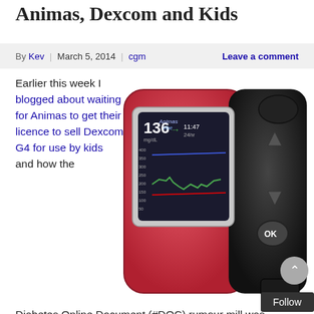Animas, Dexcom and Kids
By Kev | March 5, 2014 | cgm    Leave a comment
Earlier this week I blogged about waiting for Animas to get their licence to sell Dexcom G4 for use by kids and how the Diabetes Online Document (#DOC) rumour mill was suggesting an announcement would happen soon.
[Figure (photo): Photo of an Animas Vibe insulin pump/CGM device in red/black with a color LCD screen showing glucose reading of 136 mg/dL with a trend arrow and graph.]